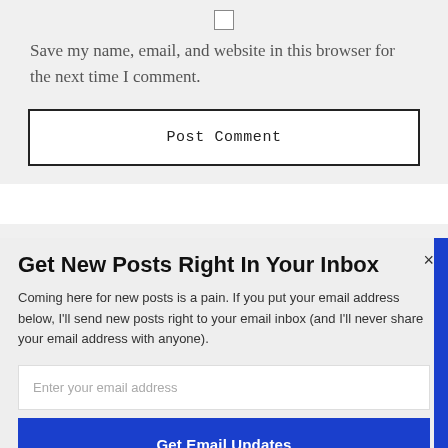[Figure (screenshot): Checkbox input (unchecked) centered at top of page]
Save my name, email, and website in this browser for the next time I comment.
Post Comment
Get New Posts Right In Your Inbox
Coming here for new posts is a pain. If you put your email address below, I'll send new posts right to your email inbox (and I'll never share your email address with anyone).
Enter your email address
Get Email Updates